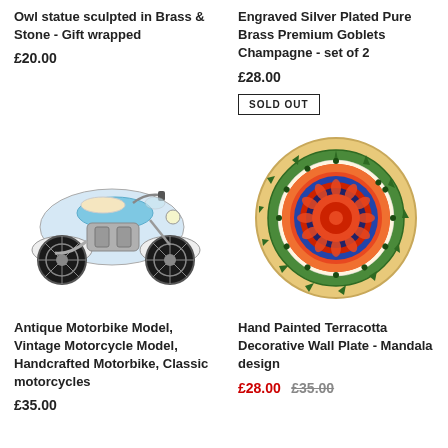Owl statue sculpted in Brass & Stone - Gift wrapped
£20.00
Engraved Silver Plated Pure Brass Premium Goblets Champagne - set of 2
£28.00
SOLD OUT
[Figure (photo): Antique blue and cream vintage Indian motorcycle model, metal, side view]
[Figure (photo): Circular hand painted terracotta decorative wall plate with colorful mandala design in red, orange, blue, and green on a sandy/cream background]
Antique Motorbike Model, Vintage Motorcycle Model, Handcrafted Motorbike, Classic motorcycles
£35.00
Hand Painted Terracotta Decorative Wall Plate - Mandala design
£28.00  £35.00